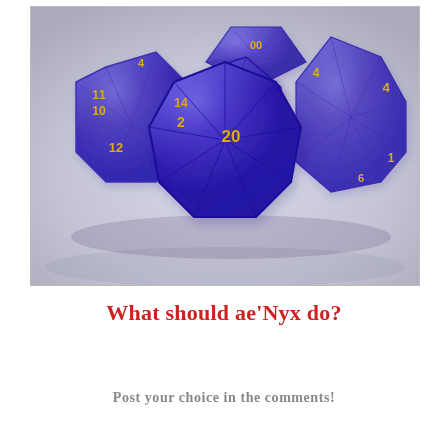[Figure (photo): Photograph of a set of purple and gold polyhedral dice (D&D/tabletop RPG dice set) arranged on a light gray/white surface. The dice are blue-purple with gold numbers, including a prominent d20 showing '20' in the center foreground.]
What should ae’Nyx do?
Post your choice in the comments!